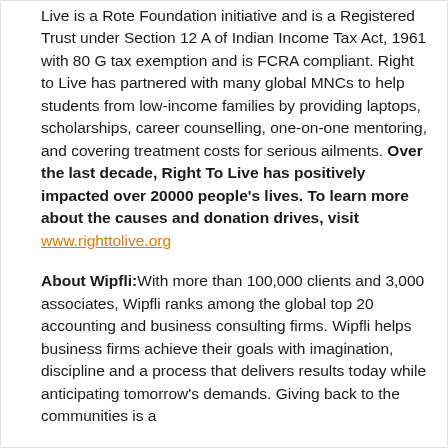Live is a Rote Foundation initiative and is a Registered Trust under Section 12 A of Indian Income Tax Act, 1961 with 80 G tax exemption and is FCRA compliant. Right to Live has partnered with many global MNCs to help students from low-income families by providing laptops, scholarships, career counselling, one-on-one mentoring, and covering treatment costs for serious ailments. Over the last decade, Right To Live has positively impacted over 20000 people's lives. To learn more about the causes and donation drives, visit www.righttolive.org
About Wipfli: With more than 100,000 clients and 3,000 associates, Wipfli ranks among the global top 20 accounting and business consulting firms. Wipfli helps business firms achieve their goals with imagination, discipline and a process that delivers results today while anticipating tomorrow's demands. Giving back to the communities is a